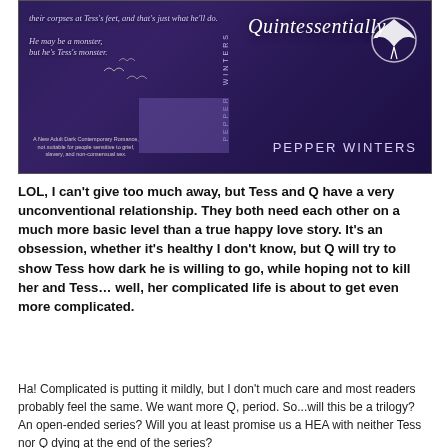[Figure (illustration): Book cover for 'Quintessentially' by Pepper Winters. Purple/dark fantasy cover with script title, bird silhouette, author name, and small italic text. Spine text reads 'PEPPER WINTERS'.]
LOL, I can't give too much away, but Tess and Q have a very unconventional relationship. They both need each other on a much more basic level than a true happy love story. It's an obsession, whether it's healthy I don't know, but Q will try to show Tess how dark he is willing to go, while hoping not to kill her and Tess… well, her complicated life is about to get even more complicated.
Ha! Complicated is putting it mildly, but I don't much care and most readers probably feel the same. We want more Q, period. So...will this be a trilogy? An open-ended series? Will you at least promise us a HEA with neither Tess nor Q dying at the end of the series?